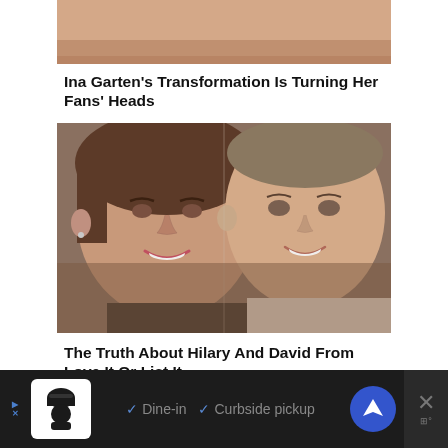[Figure (photo): Cropped photo showing top portion of a person's face (forehead/chin area), partially visible]
Ina Garten's Transformation Is Turning Her Fans' Heads
[Figure (photo): Photo of two people smiling — a woman and a man side by side, identified as Hilary and David from Love It Or List It]
The Truth About Hilary And David From Love It Or List It
[Figure (photo): Partial photo showing what appears to be a building exterior with dark hanging elements, partially cut off]
[Figure (infographic): Mobile advertisement banner at bottom: chef icon, 'Dine-in' and 'Curbside pickup' options with checkmarks, Google Maps navigation icon, and close button]